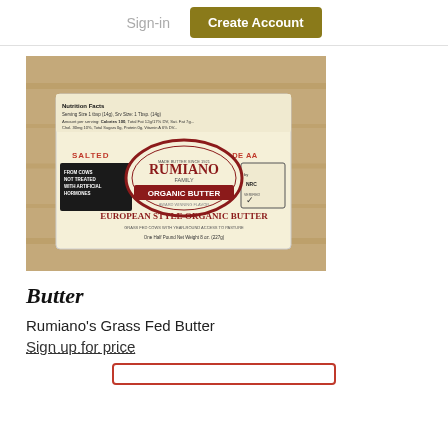Sign-in  Create Account
[Figure (photo): Rumiano Family Organic Butter package - Salted, Grade AA, European Style Organic Butter, One Half Pound Net Weight 8 oz. (227g), with NRC verified label]
Butter
Rumiano's Grass Fed Butter
Sign up for price